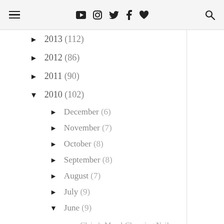Navigation header with menu, social icons, and search
► 2013 (112)
► 2012 (86)
► 2011 (90)
▼ 2010 (102)
► December (6)
► November (7)
► October (8)
► September (8)
► August (7)
► July (9)
▼ June (9)
Claire's Mood-Changing Nail Polish in Wild/Calm Re...
Natural Beach Copper Coral